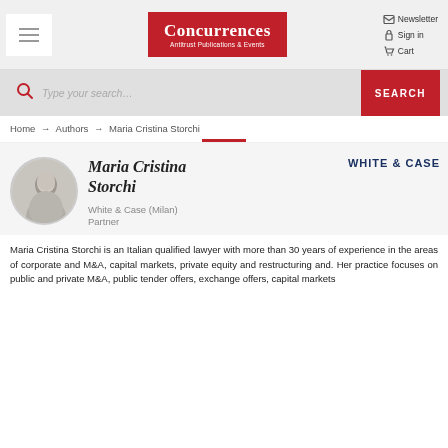[Figure (logo): Concurrences - Antitrust Publications & Events logo in red]
Newsletter  Sign in  Cart
Type your search...  SEARCH
Home → Authors → Maria Cristina Storchi
[Figure (photo): Circular headshot photo of Maria Cristina Storchi]
Maria Cristina Storchi
White & Case (Milan)
Partner
[Figure (logo): WHITE & CASE law firm logo]
Maria Cristina Storchi is an Italian qualified lawyer with more than 30 years of experience in the areas of corporate and M&A, capital markets, private equity and restructuring and. Her practice focuses on public and private M&A, public tender offers, exchange offers, capital markets